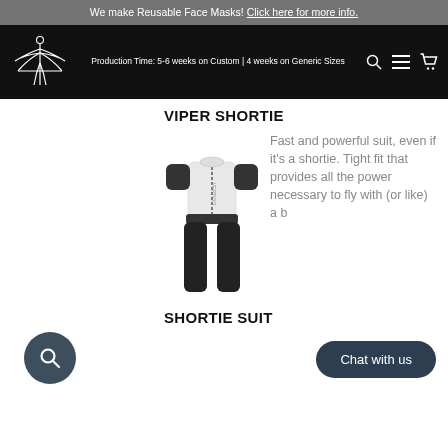We make Reusable Face Masks! Click here for more info.
[Figure (logo): Brand logo: stylized figure with wings, white line art on black background]
Production Time: 5-6 weeks on Custom | 4 weeks on Generic Sizes
VIPER SHORTIE
[Figure (photo): Shortie wingsuit product photo: white and black two-piece suit displayed on invisible mannequin, short sleeves, full length pants]
Fast and powerful suit, even if it's a shortie. Tight fit that provides all the power necessary to fly with (or like) a b
SHORTIE SUIT